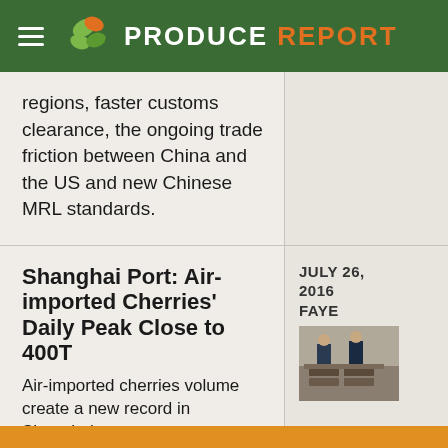PRODUCE REPORT
regions, faster customs clearance, the ongoing trade friction between China and the US and new Chinese MRL standards.
Shanghai Port: Air-imported Cherries' Daily Peak Close to 400T
Air-imported cherries volume create a new record in Shanghai port
JULY 26, 2016
FAYE
[Figure (photo): Photo of inspectors examining cherries at Shanghai port]